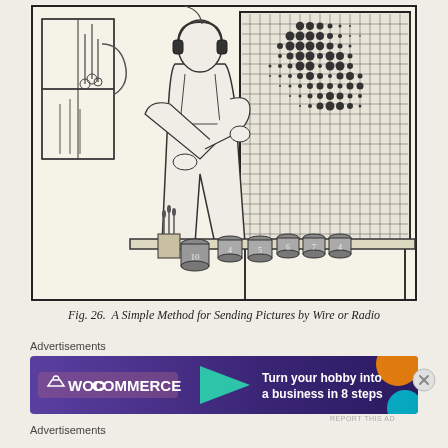[Figure (illustration): Line drawing illustration showing a person wearing headphones standing at a table, facing a large gridded screen/panel with a halftone photographic image on it. On the table are multiple small numbered cans/jars and a cup with brushes. In the background is a window with laboratory equipment. The illustration demonstrates a simple method for sending pictures by wire or radio.]
Fig. 26. A Simple Method for Sending Pictures by Wire or Radio
Advertisements
[Figure (screenshot): WooCommerce advertisement banner with purple/dark background. Left side shows WooCommerce logo (white text with shopping bag icon). Center-right shows teal arrow shape pointing right. Text reads: Turn your hobby into a business in 8 steps. Orange circle decoration on right.]
Advertisements